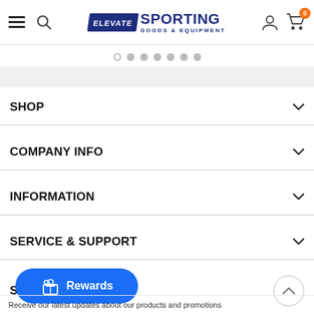Elevate Sporting Goods & Equipment — navigation header with hamburger menu, search, logo, user icon, cart (0)
[Figure (other): Carousel dot indicators: 7 dots, first one is outlined (active), rest are filled gray]
SHOP
COMPANY INFO
INFORMATION
SERVICE & SUPPORT
S[OCIAL / partial text cut off]
[Figure (other): Blue rounded Rewards button with gift icon]
Receive our latest updates about our products and promotions